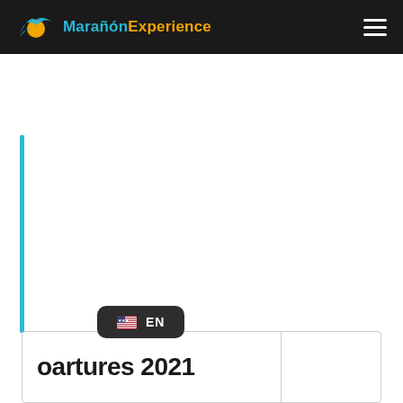MarañónExperience
[Figure (logo): MarañónExperience logo with stylized bird/wave icon in teal and orange]
EN
| oartures 2021 |  |
| --- | --- |